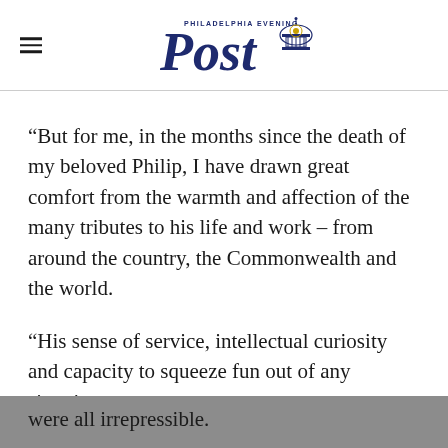[Figure (logo): Philadelphia Evening Post newspaper logo with text 'Post' in large serif font and decorative capitol building graphic]
“But for me, in the months since the death of my beloved Philip, I have drawn great comfort from the warmth and affection of the many tributes to his life and work – from around the country, the Commonwealth and the world.
“His sense of service, intellectual curiosity and capacity to squeeze fun out of any situation – were all irrepressible.